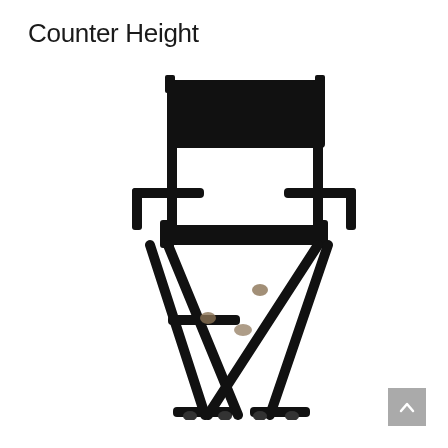Counter Height
[Figure (photo): A black director's style folding chair with counter height legs, black canvas seat and back, wooden frame painted black, X-shaped folding leg base with footrest, shown on white background.]
[Figure (other): Gray scroll-to-top button with upward-pointing chevron arrow icon in bottom-right corner.]